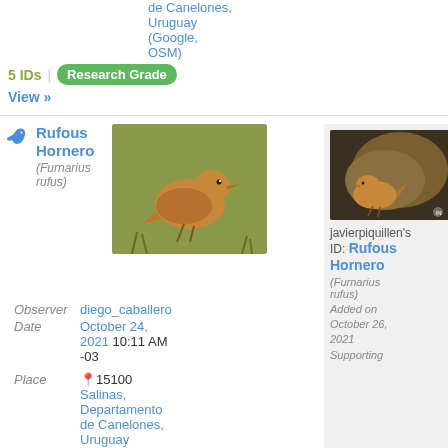de Canelones, Uruguay (Google, OSM)
5 IDs | Research Grade
View »
Rufous Hornero (Furnarius rufus)
[Figure (photo): Photo of a Rufous Hornero bird on grass]
Observer diego_caballero Date October 24, 2021 10:11 AM -03 Place 15100 Salinas, Departamento de Canelones, Uruguay (Google, OSM)
[Figure (photo): Photo of a Rufous Hornero bird near a rock/nest]
javierpiquillen's ID: Rufous Hornero (Furnarius rufus) Added on October 26, 2021 Supporting